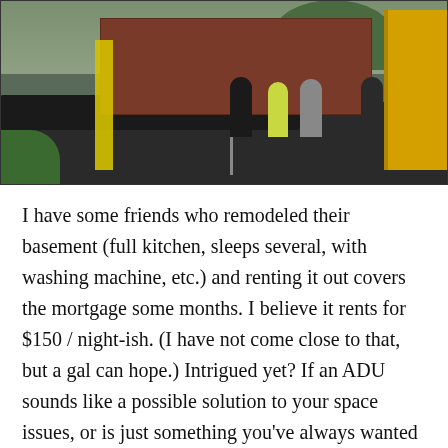[Figure (photo): Outdoor photo showing workers unloading or placing a large red/brown shipping container from a flatbed truck, using a yellow crane. A yellow ladder leans against the container. Workers in work gear stand nearby on a paved driveway surrounded by trees and greenery.]
I have some friends who remodeled their basement (full kitchen, sleeps several, with washing machine, etc.) and renting it out covers the mortgage some months. I believe it rents for $150 / night-ish. (I have not come close to that, but a gal can hope.) Intrigued yet? If an ADU sounds like a possible solution to your space issues, or is just something you've always wanted because it's cool and fun, set up a design meeting. There will be permits to be pulled, perhaps setbacks and other restrictions to be considered, but it's great to discuss how to best utilize your space and